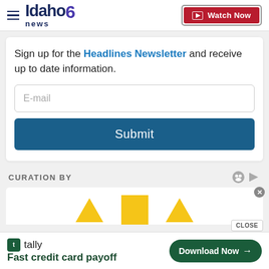Idaho News 6 — Watch Now
Sign up for the Headlines Newsletter and receive up to date information.
[Figure (screenshot): Email input field with placeholder text 'E-mail']
[Figure (screenshot): Submit button in dark blue]
CURATION BY
[Figure (screenshot): Partial content card with yellow shapes visible at bottom]
Tally — Fast credit card payoff — Download Now